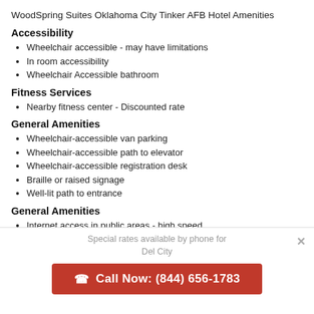WoodSpring Suites Oklahoma City Tinker AFB Hotel Amenities
Accessibility
Wheelchair accessible - may have limitations
In room accessibility
Wheelchair Accessible bathroom
Fitness Services
Nearby fitness center - Discounted rate
General Amenities
Wheelchair-accessible van parking
Wheelchair-accessible path to elevator
Wheelchair-accessible registration desk
Braille or raised signage
Well-lit path to entrance
General Amenities
Internet access in public areas - high speed
Wheelchair accessible parking
Stair-free path to entrance
Special rates available by phone for
Del City
Call Now: (844) 656-1783